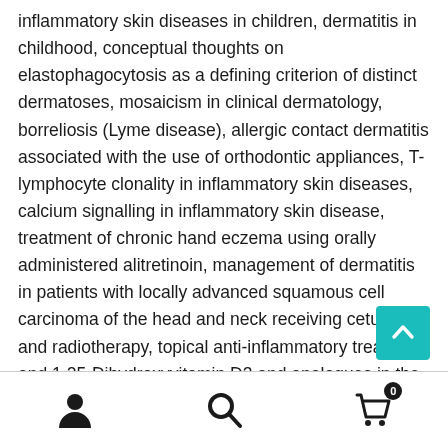inflammatory skin diseases in children, dermatitis in childhood, conceptual thoughts on elastophagocytosis as a defining criterion of distinct dermatoses, mosaicism in clinical dermatology, borreliosis (Lyme disease), allergic contact dermatitis associated with the use of orthodontic appliances, T-lymphocyte clonality in inflammatory skin diseases, calcium signalling in inflammatory skin disease, treatment of chronic hand eczema using orally administered alitretinoin, management of dermatitis in patients with locally advanced squamous cell carcinoma of the head and neck receiving cetuximab and radiotherapy, topical anti-inflammatory treatment and 1,25-Dihydroxyvitamin D3 and analogues in the treatment of psoriasis and other skin conditions.
[Figure (other): Teal/cyan scroll-to-top button with upward chevron arrow icon]
Navigation bar with user icon, search icon, and shopping cart icon with badge showing 0